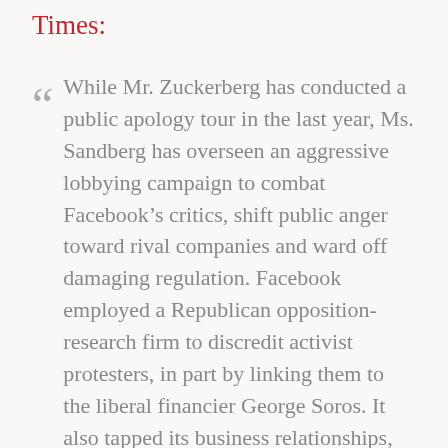Times:
“ While Mr. Zuckerberg has conducted a public apology tour in the last year, Ms. Sandberg has overseen an aggressive lobbying campaign to combat Facebook’s critics, shift public anger toward rival companies and ward off damaging regulation. Facebook employed a Republican opposition-research firm to discredit activist protesters, in part by linking them to the liberal financier George Soros. It also tapped its business relationships, lobbying a Jewish civil rights group to cast some criticism of the